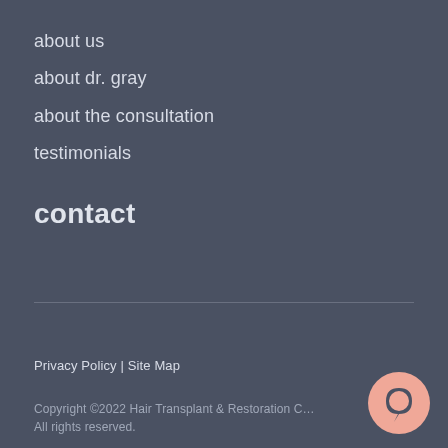about us
about dr. gray
about the consultation
testimonials
contact
Privacy Policy | Site Map
Copyright ©2022 Hair Transplant & Restoration C… All rights reserved.
[Figure (illustration): Chat bubble icon in peach/salmon color, circular shape with a small circle cutout inside, positioned in lower right corner]